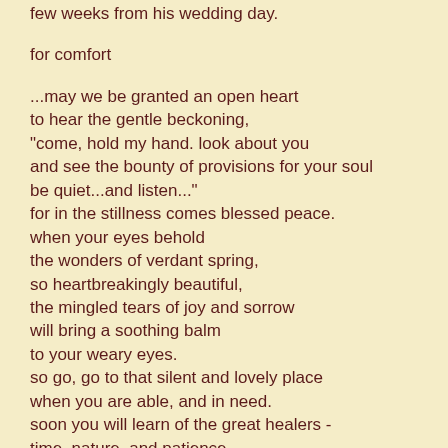few weeks from his wedding day.
for comfort
...may we be granted an open heart
to hear the gentle beckoning,
"come, hold my hand. look about you
and see the bounty of provisions for your soul
be quiet...and listen..."
for in the stillness comes blessed peace.
when your eyes behold
the wonders of verdant spring,
so heartbreakingly beautiful,
the mingled tears of joy and sorrow
will bring a soothing balm
to your weary eyes.
so go, go to that silent and lovely place
when you are able, and in need.
soon you will learn of the great healers -
time, nature, and patience.
i send you my love, dear friend,